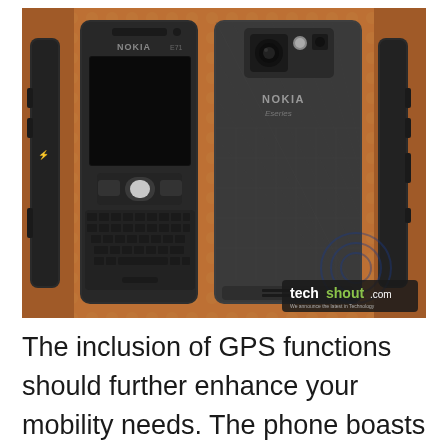[Figure (photo): Four views of a Nokia E71 smartphone: left side profile, front view showing QWERTY keyboard and screen, back view showing camera and Nokia Eseries branding, and right side profile. Background is a brownish-orange patterned surface. TechShout.com watermark in bottom right.]
The inclusion of GPS functions should further enhance your mobility needs. The phone boasts of a GPS application that contains maps and GPS data along